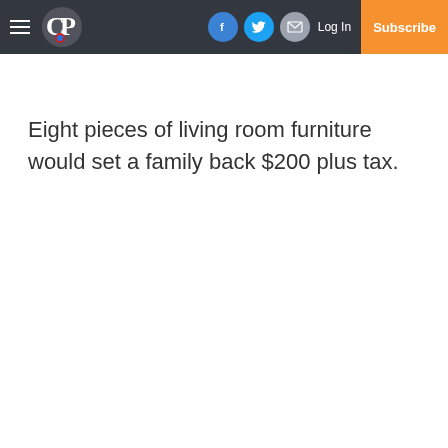Navigation bar with hamburger menu, CP logo, social icons (Facebook, Twitter, Email), Log In, Subscribe
Eight pieces of living room furniture would set a family back $200 plus tax.